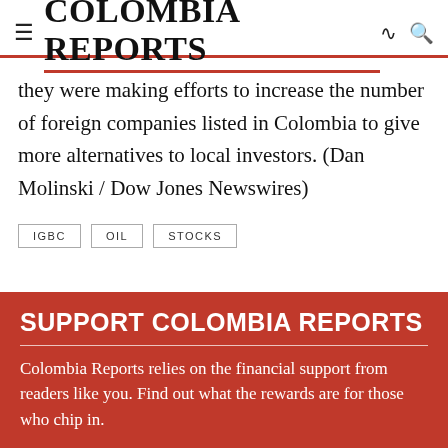COLOMBIA REPORTS
they were making efforts to increase the number of foreign companies listed in Colombia to give more alternatives to local investors. (Dan Molinski / Dow Jones Newswires)
IGBC
OIL
STOCKS
SUPPORT COLOMBIA REPORTS
Colombia Reports relies on the financial support from readers like you. Find out what the rewards are for those who chip in.